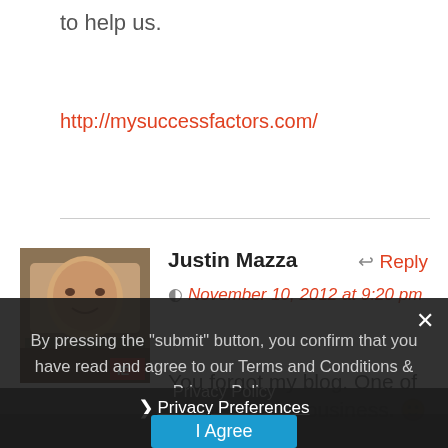to help us.
http://mysuccessfactors.com/
Justin Mazza
November 10, 2012 at 9:20 pm
You forgot my blog. One of the best in the business. 🙂
By pressing the "submit" button, you confirm that you have read and agree to our Terms and Conditions & Privacy Policy
Privacy Preferences
I Agree